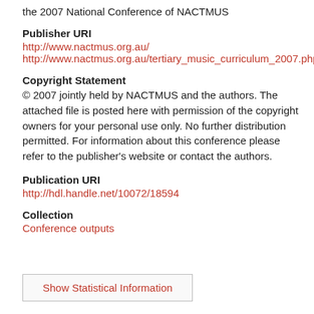the 2007 National Conference of NACTMUS
Publisher URI
http://www.nactmus.org.au/
http://www.nactmus.org.au/tertiary_music_curriculum_2007.php
Copyright Statement
© 2007 jointly held by NACTMUS and the authors. The attached file is posted here with permission of the copyright owners for your personal use only. No further distribution permitted. For information about this conference please refer to the publisher's website or contact the authors.
Publication URI
http://hdl.handle.net/10072/18594
Collection
Conference outputs
Show Statistical Information